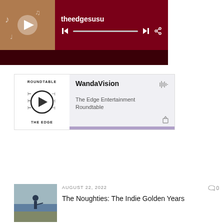[Figure (screenshot): Music player widget with album thumbnail, title 'theedgesusu', playback controls and progress bar on dark red background]
[Figure (screenshot): Podcast embed player showing 'WandaVision' episode from 'The Edge Entertainment Roundtable' with play button, waveform icon, share icon and purple progress bar]
Recent Posts
AUGUST 22, 2022
The Noughties: The Indie Golden Years